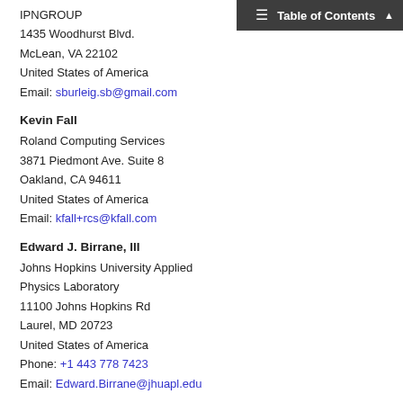Table of Contents
IPNGROUP
1435 Woodhurst Blvd.
McLean, VA 22102
United States of America
Email: sburleig.sb@gmail.com
Kevin Fall
Roland Computing Services
3871 Piedmont Ave. Suite 8
Oakland, CA 94611
United States of America
Email: kfall+rcs@kfall.com
Edward J. Birrane, III
Johns Hopkins University Applied Physics Laboratory
11100 Johns Hopkins Rd
Laurel, MD 20723
United States of America
Phone: +1 443 778 7423
Email: Edward.Birrane@jhuapl.edu